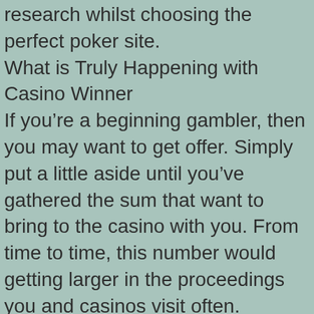research whilst choosing the perfect poker site.
What is Truly Happening with Casino Winner
If you're a beginning gambler, then you may want to get offer. Simply put a little aside until you've gathered the sum that want to bring to the casino with you. From time to time, this number would getting larger in the proceedings you and casinos visit often.
All you need to do is choose a casino online and begin playing and you will not ever be unhappy about leaving the casino again! Online casinos which provide the chance to test out the games at no price are preferred by A great deal of women and men. When you're watching a position at the i